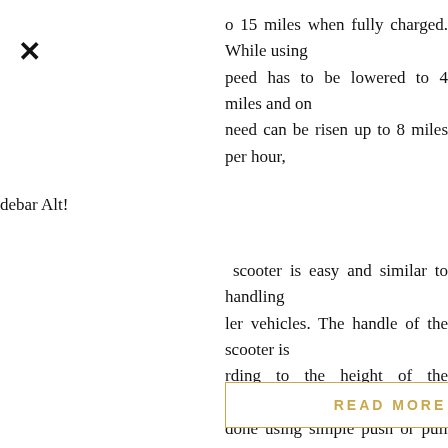o 15 miles when fully charged. While using peed has to be lowered to 4 miles and on need can be risen up to 8 miles per hour,
debar Alt!
scooter is easy and similar to handling ler vehicles. The handle of the scooter is rding to the height of the person. done using simple push or pull of levers, itches. A key system is used to start the ity features like regenerative and ks have been implemented in the scooter scooter from sliding down slopes and for the vehicle.
READ MORE